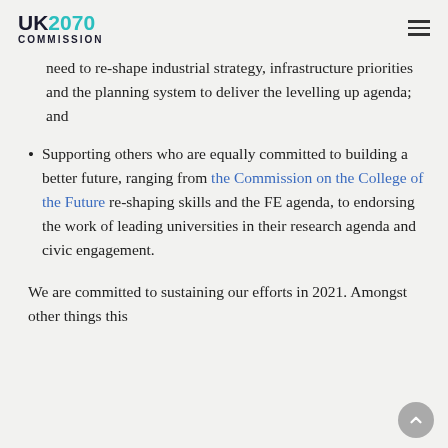UK2070 COMMISSION
need to re-shape industrial strategy, infrastructure priorities and the planning system to deliver the levelling up agenda; and
Supporting others who are equally committed to building a better future, ranging from the Commission on the College of the Future re-shaping skills and the FE agenda, to endorsing the work of leading universities in their research agenda and civic engagement.
We are committed to sustaining our efforts in 2021. Amongst other things this